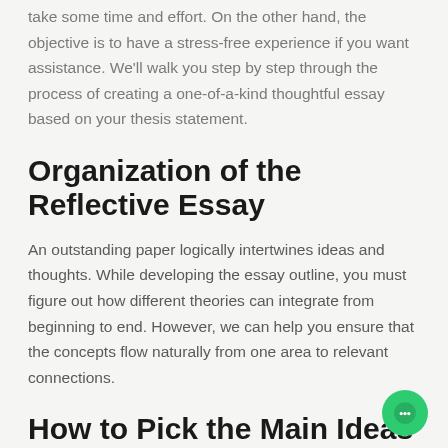take some time and effort. On the other hand, the objective is to have a stress-free experience if you want assistance. We'll walk you step by step through the process of creating a one-of-a-kind thoughtful essay based on your thesis statement.
Organization of the Reflective Essay
An outstanding paper logically intertwines ideas and thoughts. While developing the essay outline, you must figure out how different theories can integrate from beginning to end. However, we can help you ensure that the concepts flow naturally from one area to relevant connections.
How to Pick the Main Ideas